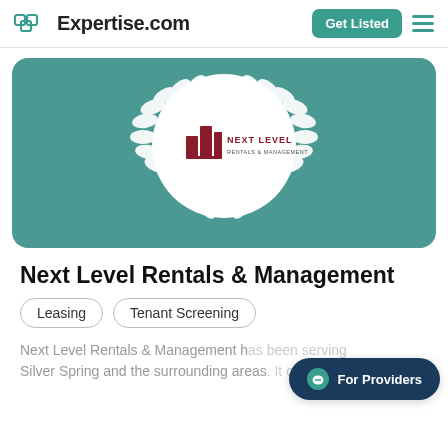Expertise.com
[Figure (logo): Next Level Rentals & Management company logo inside a white circle with white laurel wreath on teal background banner]
Next Level Rentals & Management
Leasing
Tenant Screening
Next Level Rentals & Management h... Silver Spring and the surrounding areas...